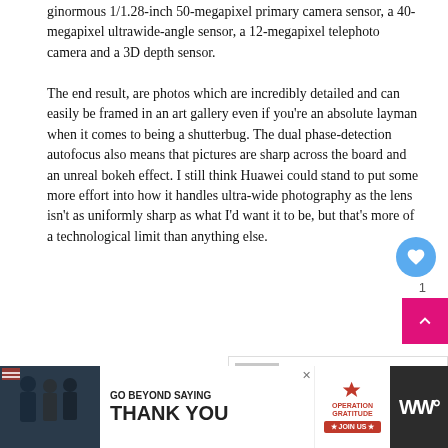ginormous 1/1.28-inch 50-megapixel primary camera sensor, a 40-megapixel ultrawide-angle sensor, a 12-megapixel telephoto camera and a 3D depth sensor.
The end result, are photos which are incredibly detailed and can easily be framed in an art gallery even if you're an absolute layman when it comes to being a shutterbug. The dual phase-detection autofocus also means that pictures are sharp across the board and an unreal bokeh effect. I still think Huawei could stand to put some more effort into how it handles ultra-wide photography as the lens isn't as uniformly sharp as what I'd want it to be, but that's more of a technological limit than anything else.
[Figure (other): Advertisement banner: Operation Gratitude - Go Beyond Saying Thank You / Join Us]